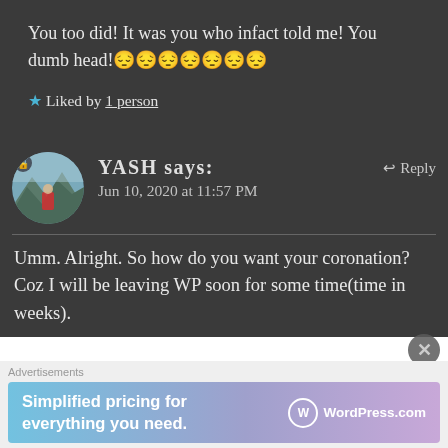You too did! It was you who infact told me! You dumb head!😔😔😔😔😔😔😔
★ Liked by 1 person
YASH says:
Jun 10, 2020 at 11:57 PM
↩ Reply
Umm. Alright. So how do you want your coronation? Coz I will be leaving WP soon for some time(time in weeks).
Advertisements
[Figure (other): WordPress.com advertisement banner: 'Simplified pricing for everything you need.' with WordPress.com logo]